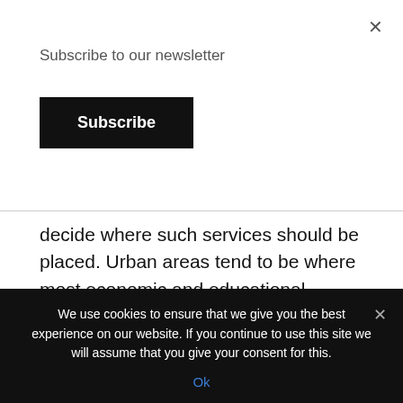Subscribe to our newsletter
Subscribe
decide where such services should be placed. Urban areas tend to be where most economic and educational opportunities have developed in South Sudan, but they are also sites where many people see government security forces as a risk.

It's tempting to fall back on the UN's mantra of
We use cookies to ensure that we give you the best experience on our website. If you continue to use this site we will assume that you give your consent for this.
Ok